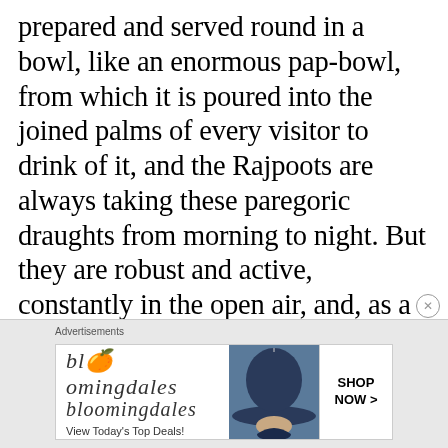prepared and served round in a bowl, like an enormous pap-bowl, from which it is poured into the joined palms of every visitor to drink of it, and the Rajpoots are always taking these paregoric draughts from morning to night. But they are robust and active, constantly in the open air, and, as a rule, suffer no more from their immoderate potations of kusoomba than healthy country-folk in England from sound ale, or Tartars
[Figure (other): Bloomingdale's advertisement banner with logo, hat image, tagline 'View Today's Top Deals!' and 'SHOP NOW >' button]